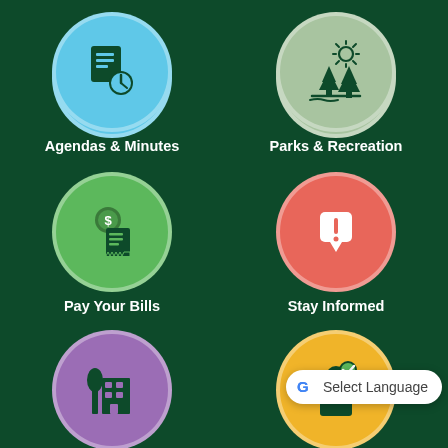[Figure (infographic): Agendas & Minutes icon: blue circle with document and clock icon]
Agendas & Minutes
[Figure (infographic): Parks & Recreation icon: sage green circle with trees and sun icon]
Parks & Recreation
[Figure (infographic): Pay Your Bills icon: green circle with dollar coin and receipt icon]
Pay Your Bills
[Figure (infographic): Stay Informed icon: red circle with alert/notification icon]
Stay Informed
[Figure (infographic): Visit Kent icon: purple circle with city buildings icon]
Visit Kent
[Figure (infographic): Permits icon: yellow circle with person and checkmark icon]
Permits
Select Language